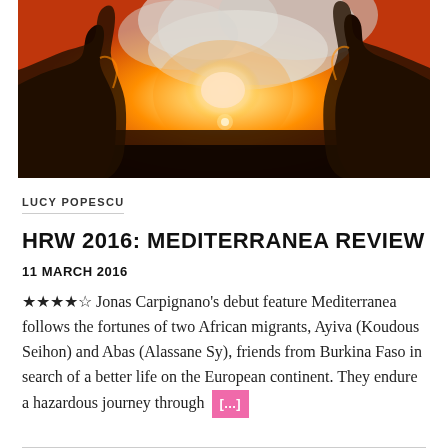[Figure (photo): Two silhouetted figures seen from behind against a bright orange-golden sky with smoke or fire in the background, creating a dramatic backlit scene]
LUCY POPESCU
HRW 2016: MEDITERRANEA REVIEW
11 MARCH 2016
★★★★☆ Jonas Carpignano's debut feature Mediterranea follows the fortunes of two African migrants, Ayiva (Koudous Seihon) and Abas (Alassane Sy), friends from Burkina Faso in search of a better life on the European continent. They endure a hazardous journey through [...]